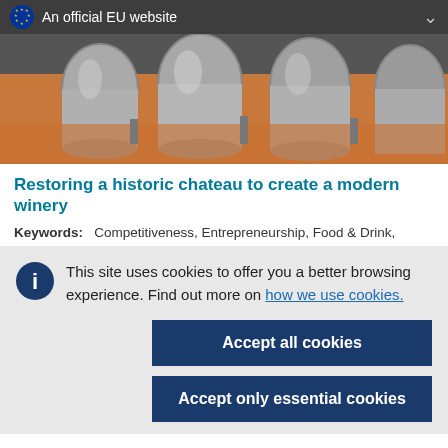An official EU website
[Figure (photo): Industrial winery interior showing large stainless steel fermentation tanks in a row with orange-lit floor]
Restoring a historic chateau to create a modern winery
Keywords: Competitiveness, Entrepreneurship, Food & Drink,
This site uses cookies to offer you a better browsing experience. Find out more on how we use cookies.
Accept all cookies
Accept only essential cookies